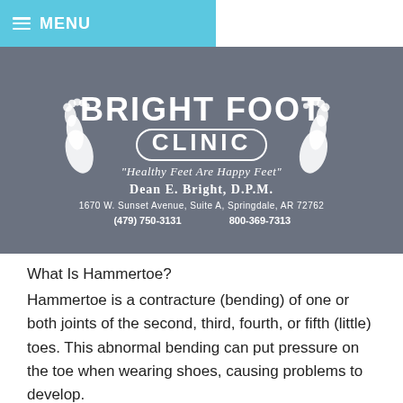MENU
[Figure (logo): Bright Foot Clinic logo with two white foot silhouettes, text 'BRIGHT FOOT CLINIC', tagline 'Healthy Feet Are Happy Feet', 'Dean E. Bright, D.P.M.', address '1670 W. Sunset Avenue, Suite A, Springdale, AR 72762', phones '(479) 750-3131  800-369-7313']
What Is Hammertoe?
Hammertoe is a contracture (bending) of one or both joints of the second, third, fourth, or fifth (little) toes. This abnormal bending can put pressure on the toe when wearing shoes, causing problems to develop.